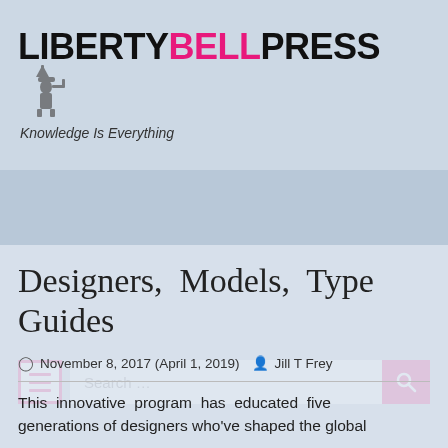[Figure (logo): Liberty Bell Press logo with text 'LIBERTY BELL PRESS' in bold where BELL is pink, and tagline 'Knowledge Is Everything' with Statue of Liberty illustration]
[Figure (screenshot): Navigation bar with hamburger menu button (pink border), search field, and pink search button with magnifying glass icon]
Designers, Models, Type Guides
November 8, 2017 (April 1, 2019)  Jill T Frey
This innovative program has educated five generations of designers who've shaped the global